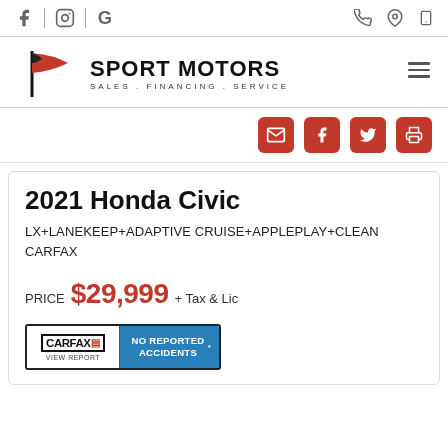Facebook | Instagram | Google | Phone | Location | Mobile
[Figure (logo): Sport Motors logo with red and black flag, text: SPORT MOTORS, SALES . FINANCING . SERVICE]
[Figure (infographic): Social share icons: email, facebook, twitter, print — red square icons]
2021 Honda Civic
LX+LANEKEEP+ADAPTIVE CRUISE+APPLEPLAY+CLEAN CARFAX
PRICE $29,999 + Tax & Lic
[Figure (logo): CARFAX badge: VIEW REPORT | NO REPORTED ACCIDENTS]